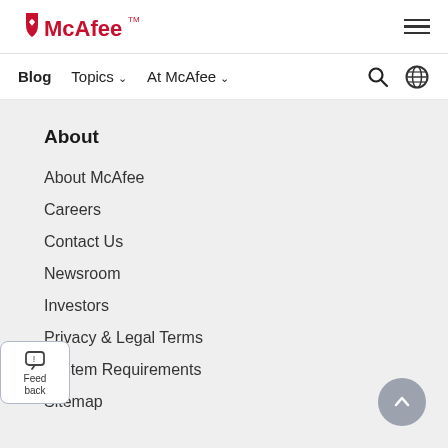McAfee™
Blog  Topics  At McAfee
About
About McAfee
Careers
Contact Us
Newsroom
Investors
Privacy & Legal Terms
System Requirements
Sitemap